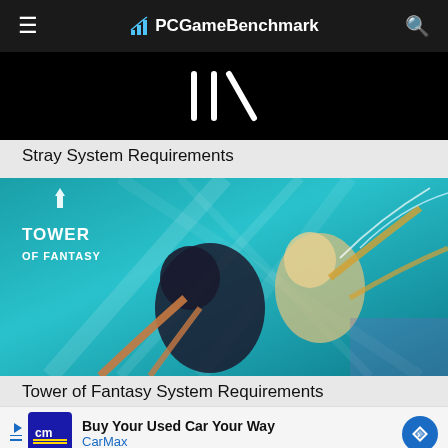PCGameBenchmark
[Figure (screenshot): Stray game promotional image — black background with stylized white angular logo marks]
Stray System Requirements
[Figure (screenshot): Tower of Fantasy game promotional image — two anime characters swimming underwater in a teal/blue environment with the Tower of Fantasy logo]
Tower of Fantasy System Requirements
[Figure (other): Advertisement banner: Buy Your Used Car Your Way — CarMax]